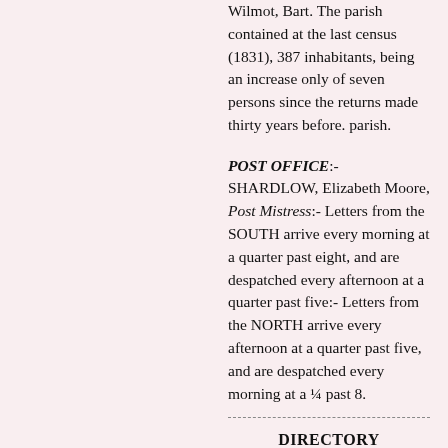Wilmot, Bart. The parish contained at the last census (1831), 387 inhabitants, being an increase only of seven persons since the returns made thirty years before. parish.
POST OFFICE:- SHARDLOW, Elizabeth Moore, Post Mistress:- Letters from the SOUTH arrive every morning at a quarter past eight, and are despatched every afternoon at a quarter past five:- Letters from the NORTH arrive every afternoon at a quarter past five, and are despatched every morning at a ¼ past 8.
DIRECTORY
GENTRY & CLERGY